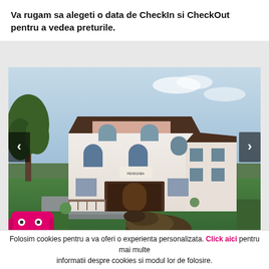Va rugam sa alegeti o data de CheckIn si CheckOut pentru a vedea preturile.
[Figure (photo): Exterior photo of a hotel/pension building with white and pink facade, dark roof, multiple floors with arched windows, surrounded by green trees and grass, with a sculpture in the foreground. Navigation arrows on left and right sides of the image.]
Folosim cookies pentru a va oferi o experienta personalizata. Click aici pentru mai multe informatii despre cookies si modul lor de folosire.